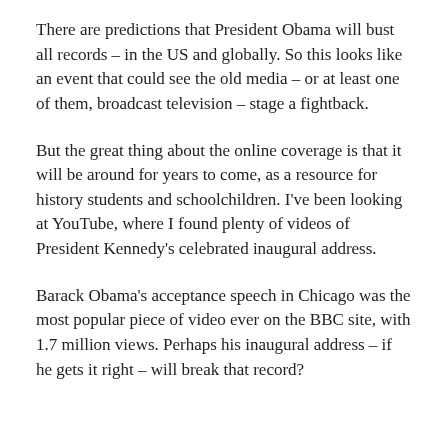There are predictions that President Obama will bust all records – in the US and globally. So this looks like an event that could see the old media – or at least one of them, broadcast television – stage a fightback.
But the great thing about the online coverage is that it will be around for years to come, as a resource for history students and schoolchildren. I've been looking at YouTube, where I found plenty of videos of President Kennedy's celebrated inaugural address.
Barack Obama's acceptance speech in Chicago was the most popular piece of video ever on the BBC site, with 1.7 million views. Perhaps his inaugural address – if he gets it right – will break that record?